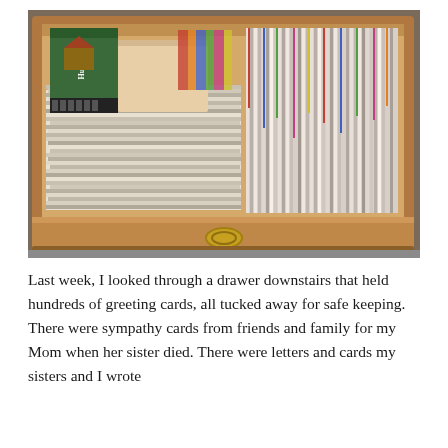[Figure (photo): An open wooden drawer filled with hundreds of greeting cards and letters. On the left side, cards are laid flat in stacks. On the upper left, a card reads 'To My Husband'. On the right side, cards and envelopes stand upright in a dense row. The drawer front is wooden with a brass ring pull handle. The drawer sits on a gray carpet.]
Last week, I looked through a drawer downstairs that held hundreds of greeting cards, all tucked away for safe keeping. There were sympathy cards from friends and family for my Mom when her sister died. There were letters and cards my sisters and I wrote